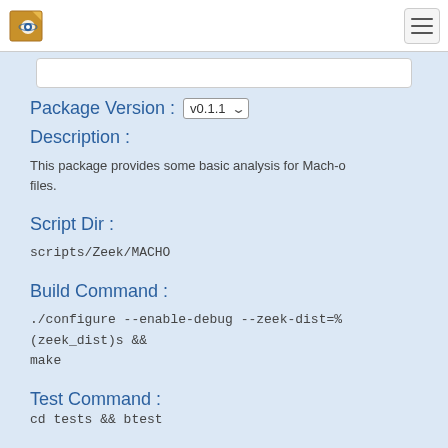Package Version : v0.1.1
Description :
This package provides some basic analysis for Mach-o files.
Script Dir :
scripts/Zeek/MACHO
Build Command :
./configure --enable-debug --zeek-dist=%(zeek_dist)s && make
Test Command :
cd tests && btest
Tags :
intel, files, mach-o, macho